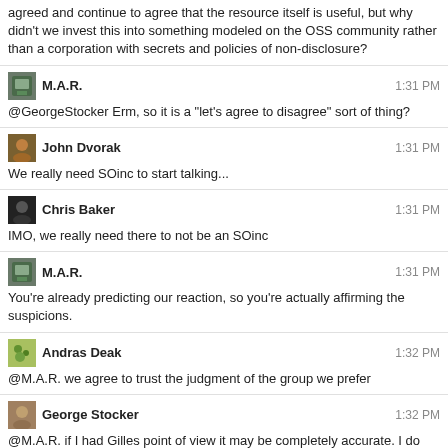agreed and continue to agree that the resource itself is useful, but why didn't we invest this into something modeled on the OSS community rather than a corporation with secrets and policies of non-disclosure?
M.A.R. 1:31 PM
@GeorgeStocker Erm, so it is a "let's agree to disagree" sort of thing?
John Dvorak 1:31 PM
We really need SOinc to start talking...
Chris Baker 1:31 PM
IMO, we really need there to not be an SOinc
M.A.R. 1:31 PM
You're already predicting our reaction, so you're actually affirming the suspicions.
Andras Deak 1:32 PM
@M.A.R. we agree to trust the judgment of the group we prefer
George Stocker 1:32 PM
@M.A.R. if I had Gilles point of view it may be completely accurate. I do not. This is a situation where everyone can see the same set of events and interpret them wildly differently. Without citing the source and providing all of the screenshots and evidence, we are left to piece together based on whom we trust, not what the evidence says
M.A.R. 1:33 PM
@Gimby Next on PBS (Peanut Butter Sucks): Star Wars is overrated.
Tensibai 1:34 PM